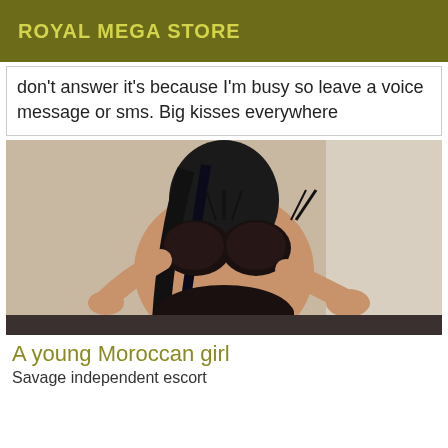ROYAL MEGA STORE
don't answer it's because I'm busy so leave a voice message or sms. Big kisses everywhere
[Figure (photo): A young woman in black lace lingerie posing indoors]
A young Moroccan girl
Savage independent escort